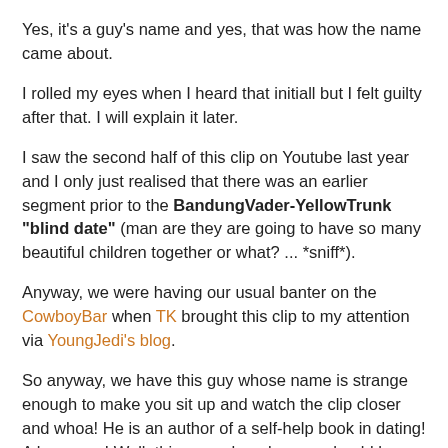Yes, it's a guy's name and yes, that was how the name came about.
I rolled my eyes when I heard that initiall but I felt guilty after that. I will explain it later.
I saw the second half of this clip on Youtube last year and I only just realised that there was an earlier segment prior to the BandungVader-YellowTrunk "blind date" (man are they are going to have so many beautiful children together or what? ... *sniff*).
Anyway, we were having our usual banter on the CowboyBar when TK brought this clip to my attention via YoungJedi's blog.
So anyway, we have this guy whose name is strange enough to make you sit up and watch the clip closer and whoa! He is an author of a self-help book in dating! A love guru! Well, this guy, whom by now should have graduated med school (wah... doctor leh!), was picked to be the candidate to go on a blind date with the above characters.